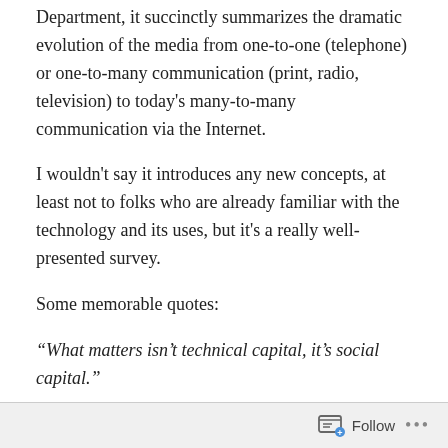Department, it succinctly summarizes the dramatic evolution of the media from one-to-one (telephone) or one-to-many communication (print, radio, television) to today's many-to-many communication via the Internet.
I wouldn't say it introduces any new concepts, at least not to folks who are already familiar with the technology and its uses, but it's a really well-presented survey.
Some memorable quotes:
“What matters isn’t technical capital, it’s social capital.”
“These tools don’t get socially interesting until they get technically boring.”
“The Internet is the first medium in history that has native
Follow •••